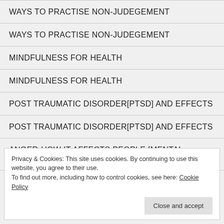WAYS TO PRACTISE NON-JUDEGEMENT
WAYS TO PRACTISE NON-JUDEGEMENT
MINDFULNESS FOR HEALTH
MINDFULNESS FOR HEALTH
POST TRAUMATIC DISORDER[PTSD] AND EFFECTS
POST TRAUMATIC DISORDER[PTSD] AND EFFECTS
ANGER-HOW IT AFFECTS PEOPLE [MENTAL HEALTH]
Privacy & Cookies: This site uses cookies. By continuing to use this website, you agree to their use.
To find out more, including how to control cookies, see here: Cookie Policy
Close and accept